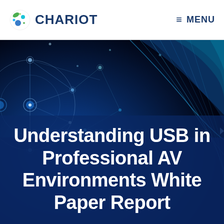CHARIOT | MENU
[Figure (illustration): Dark blue technology background with circuit network nodes, glowing dots, connecting lines, and flowing wave ribbons in shades of blue and cyan. Semi-transparent digital network pattern with circular nodes on the left and curved architectural lines on the right.]
Understanding USB in Professional AV Environments White Paper Report